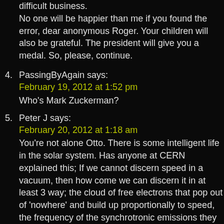difficult business.
No one will be happier than me if you found the error, dear anonymous Roger. Your children will also be grateful. The president will give you a medal. So, please, continue.
4. PassingByAgain says:
February 19, 2012 at 1:52 pm
Who's Mark Zuckerman?
5. Peter J says:
February 20, 2012 at 1:18 am
You're not alone Otto. There is some intelligent life in the solar system. Has anyone at CERN explained this; If we cannot discern speed in a vacuum, then how come we can discern it in at least 3 way; the cloud of free electrons that pop out of 'nowhere' and build up proportionally to speed, the frequency of the synchrotronic emissions they give off, and the increasing power input required? There are three excellent